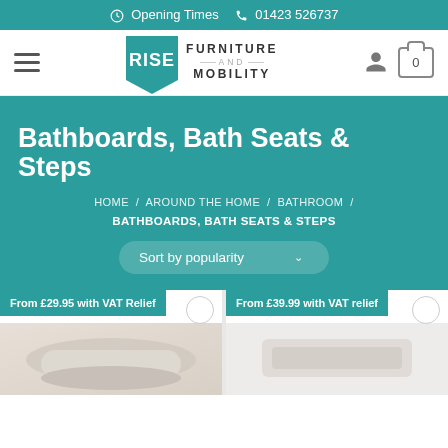Opening Times  01423 526737
[Figure (logo): Rise Furniture and Mobility logo with teal pentagon badge and text]
Bathboards, Bath Seats & Steps
HOME / AROUND THE HOME / BATHROOM / BATHBOARDS, BATH SEATS & STEPS
Sort by popularity
From £29.95 with VAT Relief
From £39.99 with VAT relief